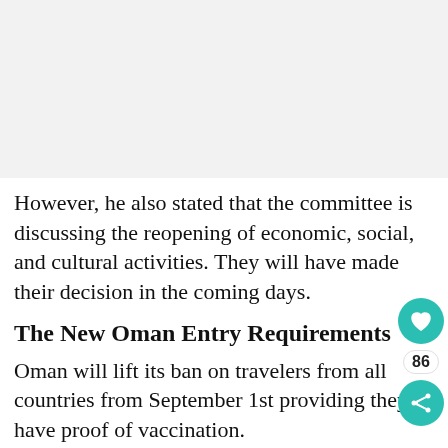[Figure (photo): Top image area (placeholder/advertisement or photo, appears as light gray)]
However, he also stated that the committee is discussing the reopening of economic, social, and cultural activities. They will have made their decision in the coming days.
The New Oman Entry Requirements
Oman will lift its ban on travelers from all countries from September 1st providing they have proof of vaccination.